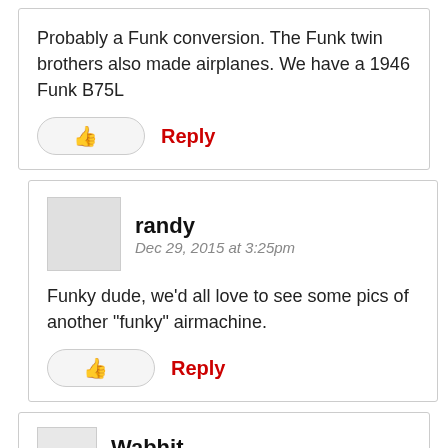Probably a Funk conversion. The Funk twin brothers also made airplanes. We have a 1946 Funk B75L
Reply
randy
Dec 29, 2015 at 3:25pm
Funky dude, we’d all love to see some pics of another “funky” airmachine.
Reply
Wabhit